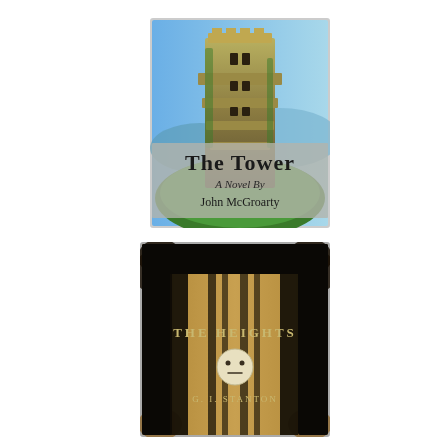[Figure (illustration): Book cover for 'The Tower: A Novel By John McGroarty'. Shows a large tower structure with lush greenery and blue sky, with a semi-transparent grey banner overlaid reading 'The Tower / A Novel By / John McGroarty'.]
[Figure (illustration): Book cover for 'The Heights' by G.I. Stanton. Dark cover with black vertical streaks/columns over a brownish-gold background with leaf motifs at corners. Center shows text 'THE HEIGHTS' with a circular moon/face symbol below and author name 'G. I. STANTON' at bottom.]